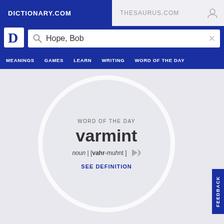DICTIONARY.COM | THESAURUS.COM
[Figure (screenshot): Dictionary.com logo (white D in blue square)]
Hope, Bob
MEANINGS | GAMES | LEARN | WRITING | WORD OF THE DAY
WORD OF THE DAY
varmint
noun | [vahr-muhnt ]
SEE DEFINITION
FEEDBACK